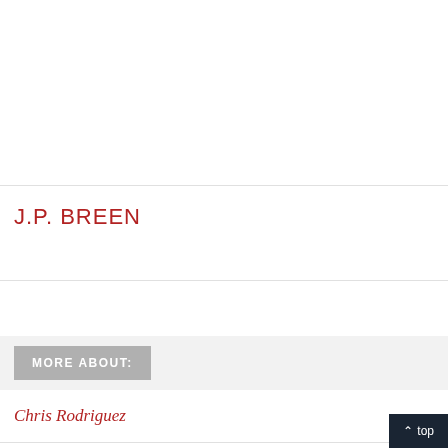J.P. BREEN
MORE ABOUT:
Chris Rodriguez
Craig Kimbrel
^ top